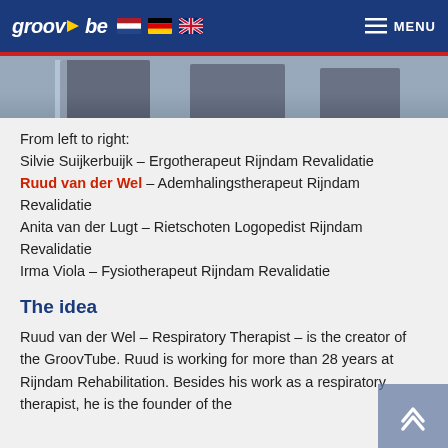groovtube — MENU
[Figure (photo): Partial photo showing lower bodies of people standing, cropped at top of view]
From left to right:
Silvie Suijkerbuijk – Ergotherapeut Rijndam Revalidatie
Ruud van der Wel – Ademhalingstherapeut Rijndam Revalidatie
Anita van der Lugt – Rietschoten Logopedist Rijndam Revalidatie
Irma Viola – Fysiotherapeut Rijndam Revalidatie
The idea
Ruud van der Wel – Respiratory Therapist – is the creator of the GroovTube. Ruud is working for more than 28 years at Rijndam Rehabilitation. Besides his work as a respiratory therapist, he is the founder of the